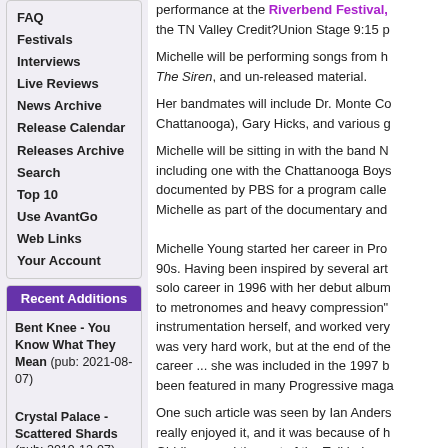FAQ
Festivals
Interviews
Live Reviews
News Archive
Release Calendar
Releases Archive
Search
Top 10
Use AvantGo
Web Links
Your Account
Recent Additions
Bent Knee - You Know What They Mean (pub: 2021-08-07)
Crystal Palace - Scattered Shards (pub: 2019-12-07)
Flower Kings, The - Desolation Rose (pub: 2019-11-30)
Kansas - Point Of Know Return (pub: 2019-06-15)
performance at the Riverbend Festival, the TN Valley Credit?Union Stage 9:15 p
Michelle will be performing songs from h The Siren, and un-released material.
Her bandmates will include Dr. Monte Co Chattanooga), Gary Hicks, and various g
Michelle will be sitting in with the band N including one with the Chattanooga Boys documented by PBS for a program calle Michelle as part of the documentary and
Michelle Young started her career in Pro 90s. Having been inspired by several art solo career in 1996 with her debut album to metronomes and heavy compression" instrumentation herself, and worked very was very hard work, but at the end of the career ... she was included in the 1997 b been featured in many Progressive maga
One such article was seen by Ian Anders really enjoyed it, and it was because of h Giddings, and the rest of the Tull lads.
Shortly after her first release, she met Ch Progressive Festival in California. They c Madness, and the melding of their talent